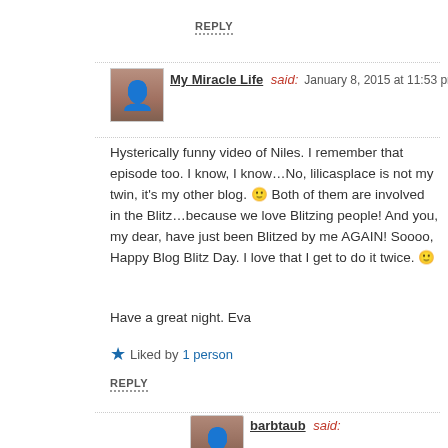REPLY
My Miracle Life said: January 8, 2015 at 11:53 pm
Hysterically funny video of Niles. I remember that episode too. I know, I know...No, lilicasplace is not my twin, it’s my other blog. 😐 Both of them are involved in the Blitz…because we love Blitzing people! And you, my dear, have just been Blitzed by me AGAIN! Soooo, Happy Blog Blitz Day. I love that I get to do it twice. 😐
Have a great night. Eva
Liked by 1 person
REPLY
barbtaub said:
January 9, 2015 at 8:27 am